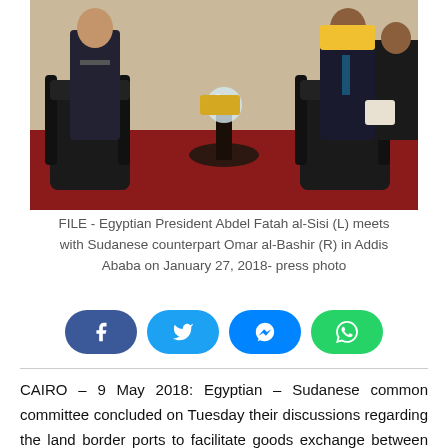[Figure (photo): Two men in suits seated in black leather chairs, meeting setting with red carpet and ornate decor. Egyptian President Abdel Fatah al-Sisi (L) and Sudanese President Omar al-Bashir (R).]
FILE - Egyptian President Abdel Fatah al-Sisi (L) meets with Sudanese counterpart Omar al-Bashir (R) in Addis Ababa on January 27, 2018- press photo
[Figure (other): Social media share buttons: Facebook, Twitter, Messenger, WhatsApp]
CAIRO – 9 May 2018: Egyptian – Sudanese common committee concluded on Tuesday their discussions regarding the land border ports to facilitate goods exchange between both States.